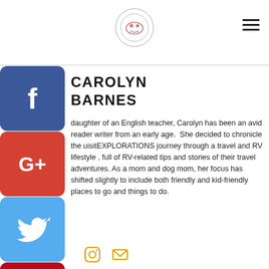[Site logo and navigation hamburger menu]
[Figure (logo): Circular logo with dog/RV illustration in center top of page]
[Figure (illustration): Social media icon buttons column on left: Facebook (blue), Google+ (red), Twitter (blue), Pinterest (red), LinkedIn (blue), Tumblr (dark)]
CAROLYN BARNES
daughter of an English teacher, Carolyn has been an avid reader writer from an early age.  She decided to chronicle the uisitEXPLORATIONS journey through a travel and RV lifestyle , full of RV-related tips and stories of their travel adventures. As a mom and dog mom, her focus has shifted slightly to include both friendly and kid-friendly places to go and things to do.
[Figure (illustration): Instagram icon (orange/yellow) and email envelope icon (orange/yellow) at bottom]